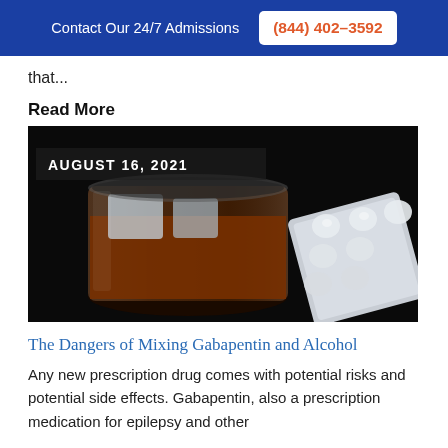Contact Our 24/7 Admissions (844) 402-3592
that...
Read More
[Figure (photo): Close-up photo of a glass of whiskey with ice on the left and a blister pack of pills on the right, on a dark background. Date overlay reads AUGUST 16, 2021.]
The Dangers of Mixing Gabapentin and Alcohol
Any new prescription drug comes with potential risks and potential side effects. Gabapentin, also a prescription medication for epilepsy and other